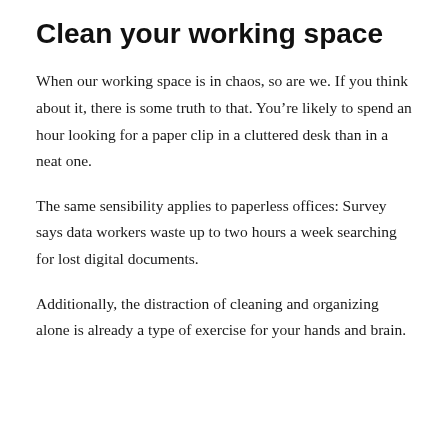Clean your working space
When our working space is in chaos, so are we. If you think about it, there is some truth to that. You’re likely to spend an hour looking for a paper clip in a cluttered desk than in a neat one.
The same sensibility applies to paperless offices: Survey says data workers waste up to two hours a week searching for lost digital documents.
Additionally, the distraction of cleaning and organizing alone is already a type of exercise for your hands and brain.